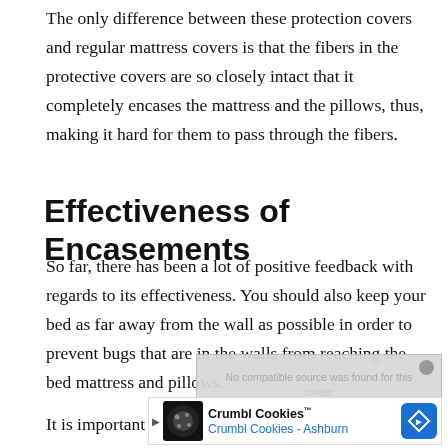The only difference between these protection covers and regular mattress covers is that the fibers in the protective covers are so closely intact that it completely encases the mattress and the pillows, thus, making it hard for them to pass through the fibers.
Effectiveness of Encasements
So far, there has been a lot of positive feedback with regards to its effectiveness. You should also keep your bed as far away from the wall as possible in order to prevent bugs that are in the walls from reaching the bed mattress and pillows.
It is important for people to know that these bed covers
[Figure (other): Ad overlay showing 'No compatible source was found for this' with a close button, and a Crumbl Cookies advertisement banner below with logo, 'Crumbl Cookies™' title and 'Crumbl Cookies - Ashburn' subtitle with a blue diamond navigation icon.]